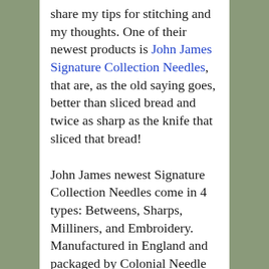share my tips for stitching and my thoughts. One of their newest products is John James Signature Collection Needles, that are, as the old saying goes, better than sliced bread and twice as sharp as the knife that sliced that bread!
John James newest Signature Collection Needles come in 4 types: Betweens, Sharps, Milliners, and Embroidery. Manufactured in England and packaged by Colonial Needle Company in the USA, these excellent needles are precision engineered of premium steel, with a proprietary finish so that they smoothly and easily glide through fabric. Hand stitching is strain free. The points on these needles are so sharp that they easily pierce the fabric rather than push it, resulting in greater accuracy, especially important in hand applique, and make hand stitching even more